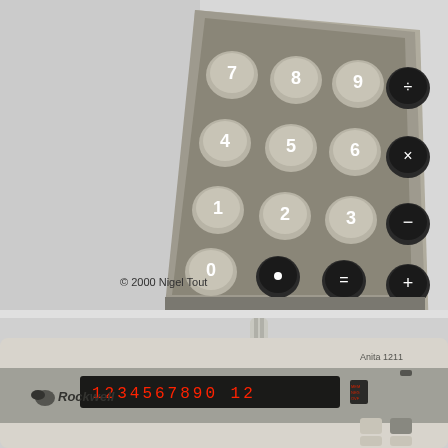[Figure (photo): Close-up photograph of a vintage calculator keypad showing numeric keys 0-9 arranged in a grid with dark operator keys for division, multiplication, subtraction, equals, decimal point, and addition. The calculator has a beige/gray plastic body with rounded square key housings.]
© 2000 Nigel Tout
[Figure (photo): Photograph of a Rockwell Anita 1211 desktop calculator showing its front face with a red LED display showing '1234567890 12', the Rockwell logo with wing emblem on the left side, model name 'Anita 1211' on the upper right, and beige/gray plastic body with visible keypad at the bottom right. A cable is visible at the top.]